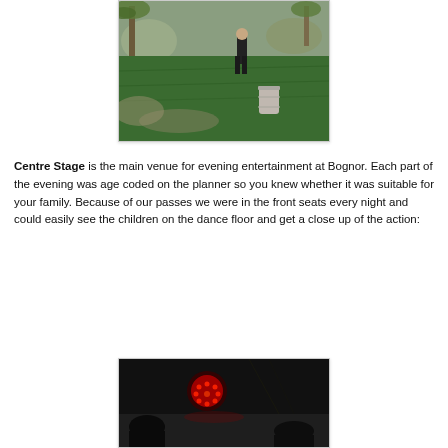[Figure (photo): Outdoor mini golf or activity area with green artificial turf, rocks, palm trees, a person in dark clothing, and a cylindrical barrel/bin in the foreground.]
Centre Stage is the main venue for evening entertainment at Bognor. Each part of the evening was age coded on the planner so you knew whether it was suitable for your family. Because of our passes we were in the front seats every night and could easily see the children on the dance floor and get a close up of the action:
[Figure (photo): Dark indoor venue photo showing a red circular stage light and silhouettes of people, taken from the front seating area of Centre Stage.]